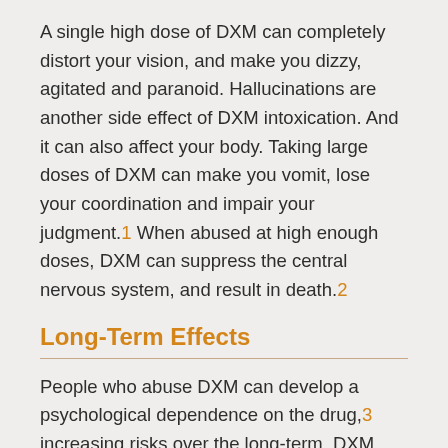A single high dose of DXM can completely distort your vision, and make you dizzy, agitated and paranoid. Hallucinations are another side effect of DXM intoxication. And it can also affect your body. Taking large doses of DXM can make you vomit, lose your coordination and impair your judgment.1 When abused at high enough doses, DXM can suppress the central nervous system, and result in death.2
Long-Term Effects
People who abuse DXM can develop a psychological dependence on the drug,3 increasing risks over the long-term. DXM can cause serious damage when abused. And many of